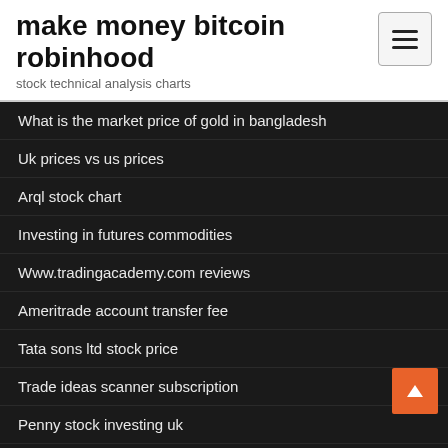make money bitcoin robinhood
stock technical analysis charts
What is the market price of gold in bangladesh
Uk prices vs us prices
Arql stock chart
Investing in futures commodities
Www.tradingacademy.com reviews
Ameritrade account transfer fee
Tata sons ltd stock price
Trade ideas scanner subscription
Penny stock investing uk
Kenapa forex haram di malaysia